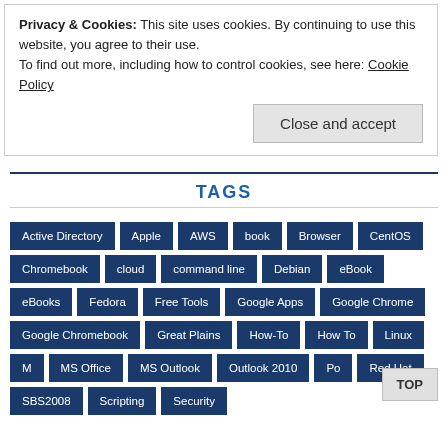Privacy & Cookies: This site uses cookies. By continuing to use this website, you agree to their use.
To find out more, including how to control cookies, see here: Cookie Policy
Close and accept
TAGS
Active Directory
Apple
AWS
book
Browser
CentOS
Chromebook
cloud
command line
Debian
eBook
eBooks
Fedora
Free Tools
Google Apps
Google Chrome
Google Chromebook
Great Plains
How-To
How To
Linux
MS Office
MS Outlook
Outlook 2010
PowerPoint
Red Hat
SBS2008
Scripting
Security